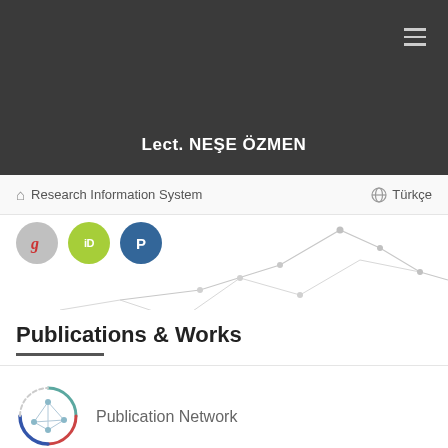Lect. NEŞE ÖZMEN
Research Information System
Türkçe
[Figure (continuous-plot): Background decorative line chart with light gray lines and dots on white area]
Publications & Works
[Figure (other): Circular network diagram icon representing Publication Network]
Publication Network